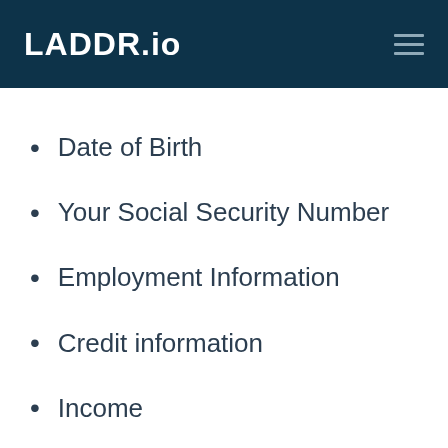LADDR.io
Date of Birth
Your Social Security Number
Employment Information
Credit information
Income
Rent or mortgage amount
Loan amount